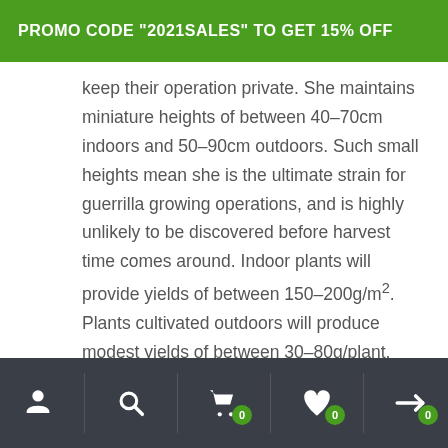PROMO CODE "2021SALES" TO GET 15% OFF
keep their operation private. She maintains miniature heights of between 40–70cm indoors and 50–90cm outdoors. Such small heights mean she is the ultimate strain for guerrilla growing operations, and is highly unlikely to be discovered before harvest time comes around. Indoor plants will provide yields of between 150–200g/m². Plants cultivated outdoors will produce modest yields of between 30–80g/plant.
Navigation footer icons: user, search, cart (0), wishlist (0), compare (0)